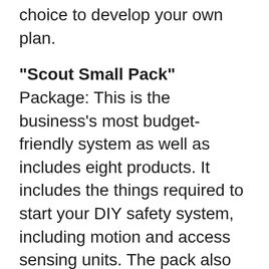choice to develop your own plan.
"Scout Small Pack" Package: This is the business's most budget-friendly system as well as includes eight products. It includes the things required to start your DIY safety system, including motion and access sensing units. The pack also features 2 crucial fobs so you can easily equip as well as disarm the system. This pack is best-suited for those who want standard protection coverage or live in a smaller house.
"Scout Large Pack" Plan: If you need to secure a larger location in your residence or your home has several accessibility points, the Scout Big Pack supplies a safety remedy that covers all your bases. Geared up with